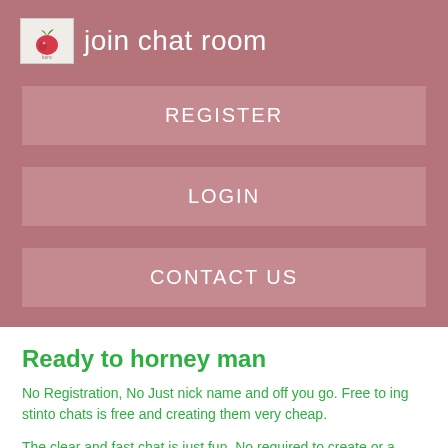join chat room
REGISTER
LOGIN
CONTACT US
Ready to horney man
No Registration, No Just nick name and off you go. Free to ing stinto chats is free and creating them very cheap.
The clear and fast chat is just fun. No required to create or a chat.
Nerds Chat